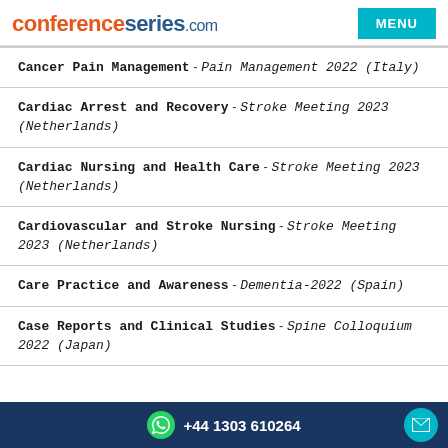conferenceseries.com
Cancer Pain Management - Pain Management 2022 (Italy)
Cardiac Arrest and Recovery - Stroke Meeting 2023 (Netherlands)
Cardiac Nursing and Health Care - Stroke Meeting 2023 (Netherlands)
Cardiovascular and Stroke Nursing - Stroke Meeting 2023 (Netherlands)
Care Practice and Awareness - Dementia-2022 (Spain)
Case Reports and Clinical Studies - Spine Colloquium 2022 (Japan)
+44 1303 610264